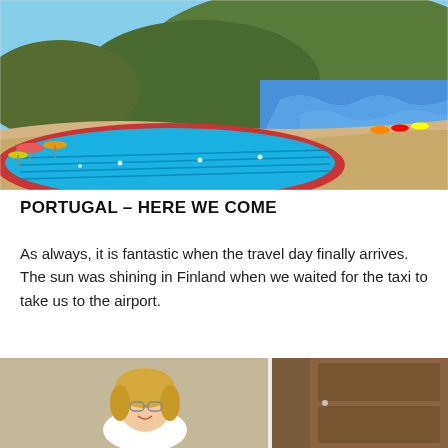[Figure (photo): Aerial/elevated view of a large outdoor swimming pool with lane markings in bright blue, adjacent to a sandy beach with waves, cliffs in the background, and colorful beach umbrellas and swimmers around the pool area.]
PORTUGAL – HERE WE COME
As always, it is fantastic when the travel day finally arrives. The sun was shining in Finland when we waited for the taxi to take us to the airport.
[Figure (photo): A blonde woman wearing glasses and a white shirt smiling at the camera, with wooden door and building exterior visible in the background.]